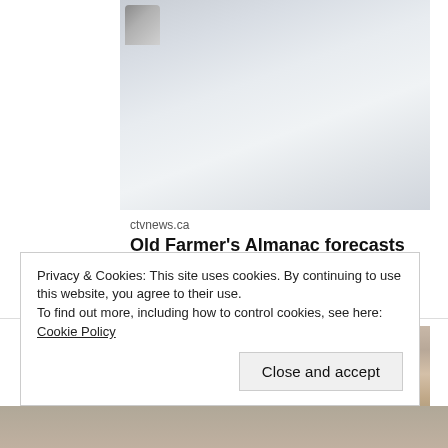[Figure (photo): Snowy outdoor scene, partially cropped, showing deep snow with a dark object partially visible at top left]
ctvnews.ca
Old Farmer's Almanac forecasts bouts of 'extra-deep cold' in Canada this winter
[Figure (photo): Close-up portrait of a bald man wearing rectangular glasses, selfie-style photo]
Privacy & Cookies: This site uses cookies. By continuing to use this website, you agree to their use.
To find out more, including how to control cookies, see here: Cookie Policy
Close and accept